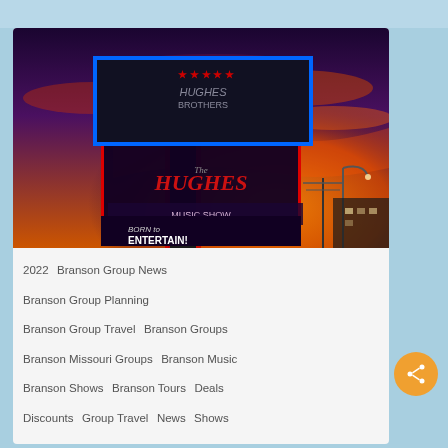[Figure (photo): Hughes Brothers theatre sign lit up with neon lights against a dramatic orange and purple sunset sky. The sign reads 'Hughes Brothers' at the top, then 'The Hughes Show' in large letters, and 'Born to Entertain!' at the bottom.]
2022   Branson Group News
Branson Group Planning
Branson Group Travel   Branson Groups
Branson Missouri Groups   Branson Music
Branson Shows   Branson Tours   Deals
Discounts   Group Travel   News   Shows